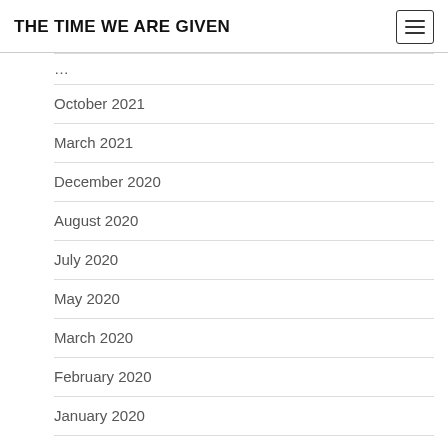THE TIME WE ARE GIVEN
October 2021
March 2021
December 2020
August 2020
July 2020
May 2020
March 2020
February 2020
January 2020
December 2019